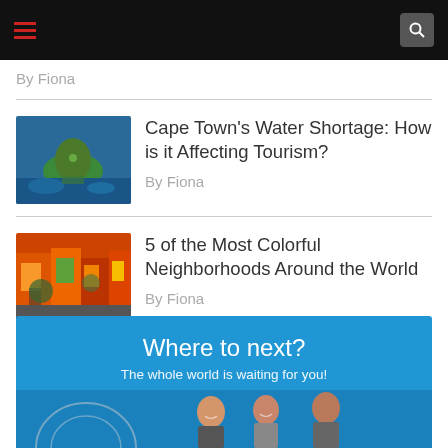[Navigation bar with hamburger menu and search icon]
By Fiona
Cape Town's Water Shortage: How is it Affecting Tourism?
By Fiona
5 of the Most Colorful Neighborhoods Around the World
By Fiona
[Figure (infographic): Blue promotional banner reading 'Where to next? The whole world is waiting for you!' with photo of travelers below]